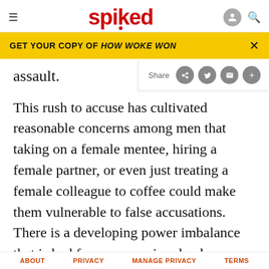spiked
GET YOUR COPY OF HOW WOKE WON
assault.
This rush to accuse has cultivated reasonable concerns among men that taking on a female mentee, hiring a female partner, or even just treating a female colleague to coffee could make them vulnerable to false accusations. There is a developing power imbalance that is bad for everyone involved: qualified women will be passed up for opportunities, and men will lose
the benefit of working closely with competent
ABOUT   PRIVACY   MANAGE PRIVACY   TERMS